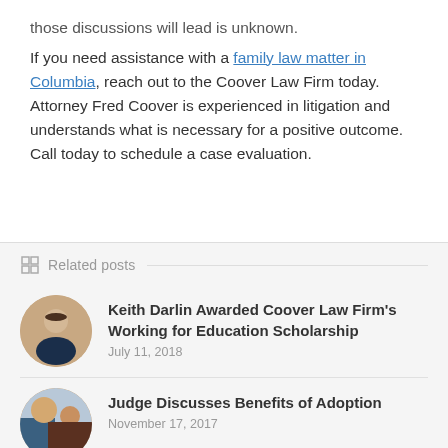those discussions will lead is unknown.
If you need assistance with a family law matter in Columbia, reach out to the Coover Law Firm today. Attorney Fred Coover is experienced in litigation and understands what is necessary for a positive outcome. Call today to schedule a case evaluation.
Related posts
Keith Darlin Awarded Coover Law Firm's Working for Education Scholarship
July 11, 2018
Judge Discusses Benefits of Adoption
November 17, 2017